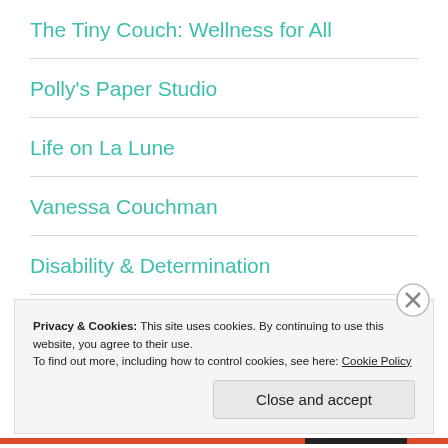The Tiny Couch: Wellness for All
Polly's Paper Studio
Life on La Lune
Vanessa Couchman
Disability & Determination
Nicholas Andriani
Privacy & Cookies: This site uses cookies. By continuing to use this website, you agree to their use.
To find out more, including how to control cookies, see here: Cookie Policy
Close and accept